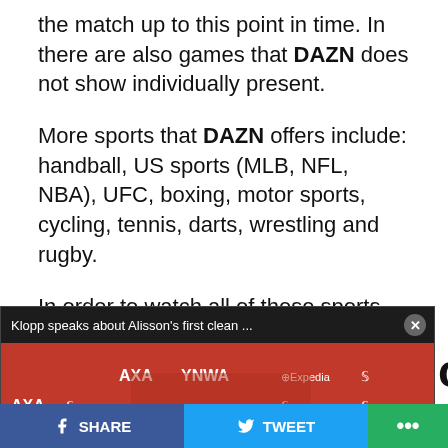the match up to this point in time. In there are also games that DAZN does not show individually present.
More sports that DAZN offers include: handball, US sports (MLB, NFL, NBA), UFC, boxing, motor sports, cycling, tennis, darts, wrestling and rugby.
In order to watch all of these sports, you need a subscription, for which you have to pay either 14.99 euros
[Figure (screenshot): Video popup showing Klopp speaks about Alisson's first clean... with a press conference video frame showing a person in front of red backdrop with AXA and YNWA branding. Mute button visible. Subtitle text: It was the first Premier League clean sheet in 8 matches for him]
casts
gladbach vs.
TV and live
stream today: Most important
SHARE   TWEET   ...